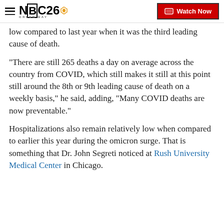NBC26 Green Bay — Watch Now
low compared to last year when it was the third leading cause of death.
“There are still 265 deaths a day on average across the country from COVID, which still makes it still at this point still around the 8th or 9th leading cause of death on a weekly basis,” he said, adding, “Many COVID deaths are now preventable.”
Hospitalizations also remain relatively low when compared to earlier this year during the omicron surge. That is something that Dr. John Segreti noticed at Rush University Medical Center in Chicago.